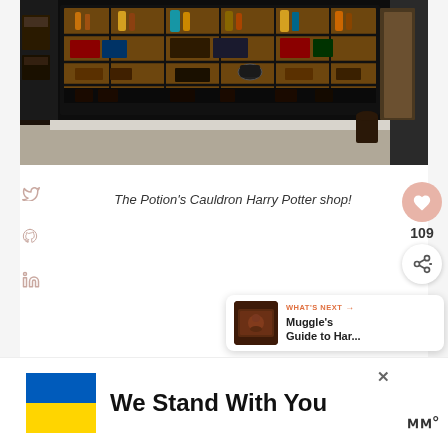[Figure (photo): Storefront of The Potion's Cauldron Harry Potter shop, showing a dark black-painted facade with illuminated window display of bottles and magical merchandise.]
The Potion's Cauldron Harry Potter shop!
109
WHAT'S NEXT → Muggle's Guide to Har...
We Stand With You